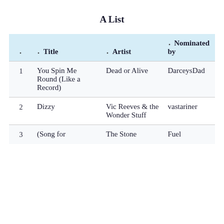A List
|  | Title | Artist | Nominated by |
| --- | --- | --- | --- |
| 1 | You Spin Me Round (Like a Record) | Dead or Alive | DarceysDad |
| 2 | Dizzy | Vic Reeves & the Wonder Stuff | vastariner |
| 3 | (Song for | The Stone | Fuel |